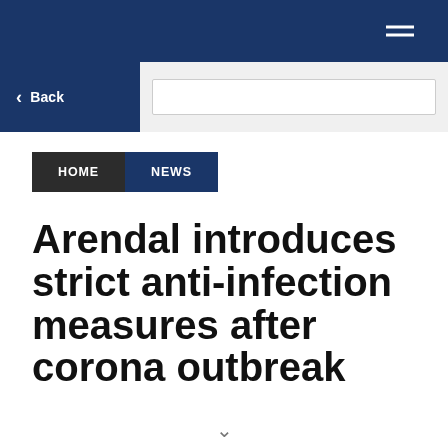Navigation bar with hamburger menu
Back | Search bar
HOME
NEWS
Arendal introduces strict anti-infection measures after corona outbreak